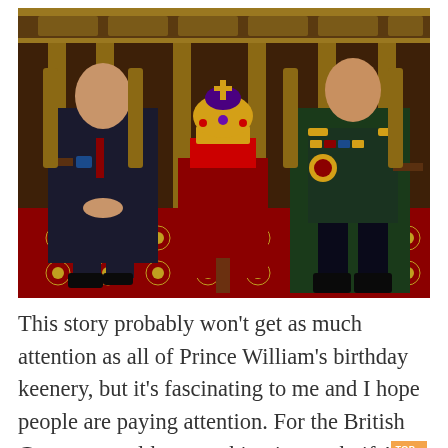[Figure (photo): Photo of Prince William seated on the left in a dark suit with a medal, and Prince Charles seated on the right in military ceremonial dress with medals and decorations. Between them on a table sits the Imperial State Crown on a red velvet cushion. The ornate House of Lords chamber is visible in the background with gold detailing and red carpet.]
This story probably won't get as much attention as all of Prince William's birthday keenery, but it's fascinating to me and I hope people are paying attention. For the British Commonwealth, everything is on a knife's edge. The Caribbean countries which still have